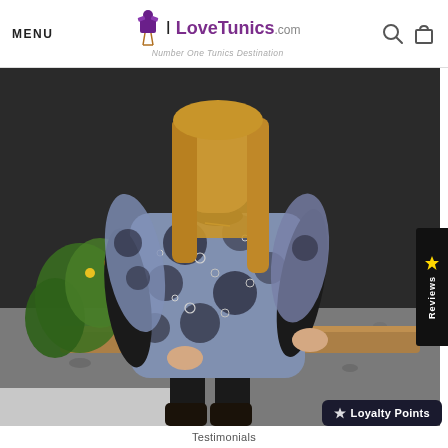MENU | I LoveTunics.com - Number One Tunics Destination
[Figure (photo): A woman with long blonde hair sitting on a wooden bench outdoors, wearing a patterned blue/grey/black tunic top with circle print, black leggings and black boots. Garden setting with gravel and green plants in background.]
Reviews
Loyalty Points
Testimonials